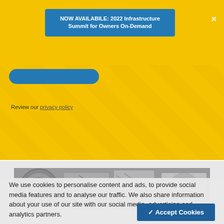NOW AVAILABILE: 2022 Infrastructure Summit for Owners On-Demand
Review our privacy policy
[Figure (photo): Grayscale close-up photo of coins and currency]
We use cookies to personalise content and ads, to provide social media features and to analyse our traffic. We also share information about your use of our site with our social media, advertising and analytics partners.
✓ Accept Cookies